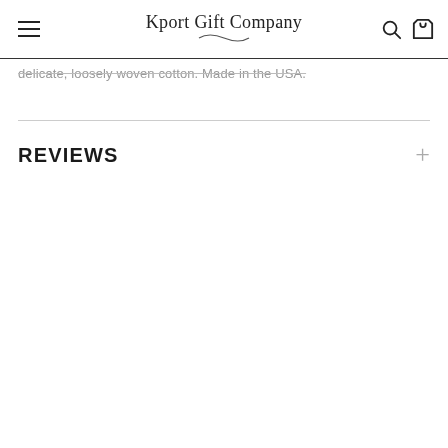Kport Gift Company
delicate, loosely woven cotton. Made in the USA.
REVIEWS